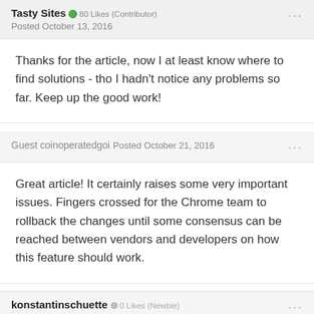Tasty Sites • 80 Likes (Contributor)
Posted October 13, 2016
Thanks for the article, now I at least know where to find solutions - tho I hadn't notice any problems so far. Keep up the good work!
Guest coinoperatedgoi
Posted October 21, 2016
Great article! It certainly raises some very important issues. Fingers crossed for the Chrome team to rollback the changes until some consensus can be reached between vendors and developers on how this feature should work.
konstantinschuette • 0 Likes (Newbie)